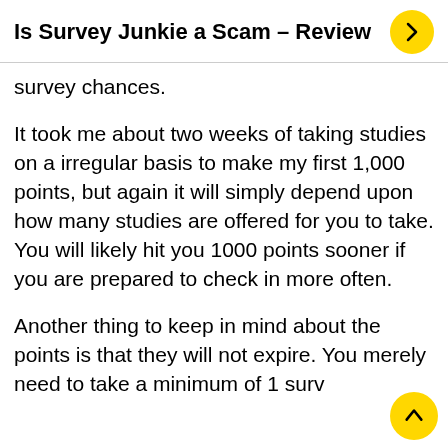Is Survey Junkie a Scam – Review
survey chances.
It took me about two weeks of taking studies on a irregular basis to make my first 1,000 points, but again it will simply depend upon how many studies are offered for you to take. You will likely hit you 1000 points sooner if you are prepared to check in more often.
Another thing to keep in mind about the points is that they will not expire. You merely need to take a minimum of 1 surv